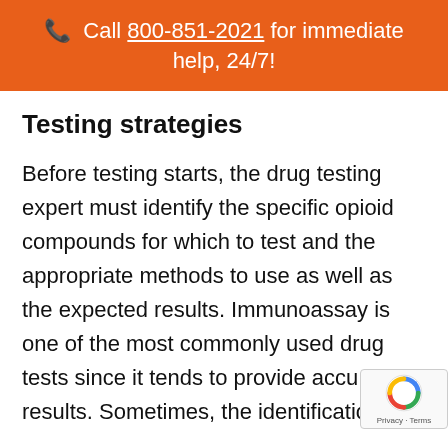📞 Call 800-851-2021 for immediate help, 24/7!
Testing strategies
Before testing starts, the drug testing expert must identify the specific opioid compounds for which to test and the appropriate methods to use as well as the expected results. Immunoassay is one of the most commonly used drug tests since it tends to provide accu[rate] results. Sometimes, the identification of